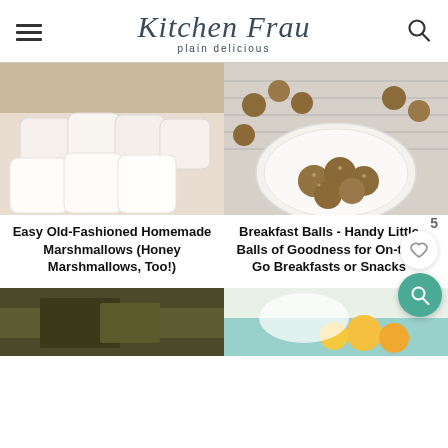Kitchen Frau — plain delicious
[Figure (photo): Pile of white homemade marshmallow cubes on a surface]
[Figure (photo): Oat and chocolate chip breakfast balls on a white plate on a cooling rack]
Easy Old-Fashioned Homemade Marshmallows (Honey Marshmallows, Too!)
Breakfast Balls - Handy Little Balls of Goodness for On-the-Go Breakfasts or Snacks
[Figure (photo): Partial photo at bottom left — green/olive tones, partially visible]
[Figure (photo): Partial photo at bottom right — colorful food on a teal background, partially visible]